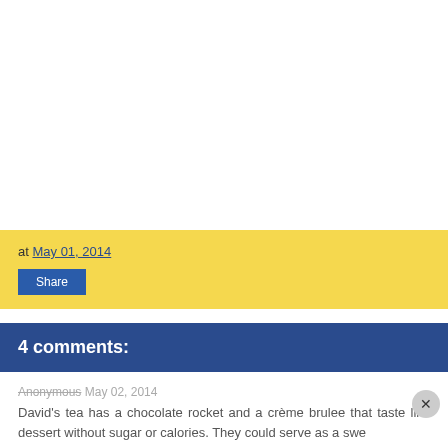at May 01, 2014
Share
4 comments:
Anonymous May 02, 2014
David's tea has a chocolate rocket and a crème brulee that taste like dessert without sugar or calories. They could serve as a swe...